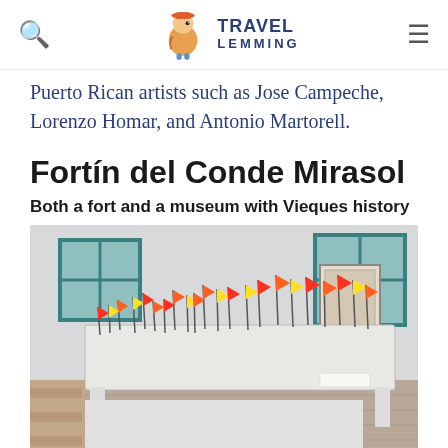Travel Lemming
Puerto Rican artists such as Jose Campeche, Lorenzo Homar, and Antonio Martorell.
Fortín del Conde Mirasol
Both a fort and a museum with Vieques history
[Figure (photo): A museum exhibit showing a map or diorama table covered with numerous small figures holding bright orange, yellow, and red flags inside a white room with teal-framed windows.]
Map with live ammunition found around Vieques in Fortín del Conde